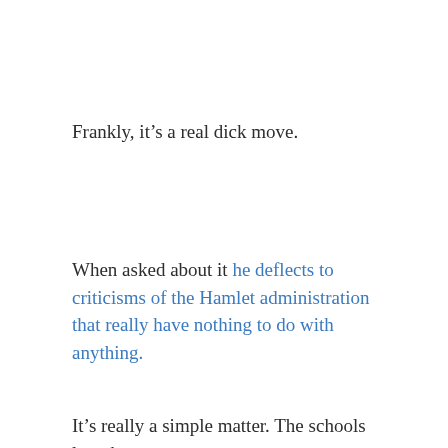Frankly, it’s a real dick move.
When asked about it he deflects to criticisms of the Hamlet administration that really have nothing to do with anything.
It’s really a simple matter. The schools lent the